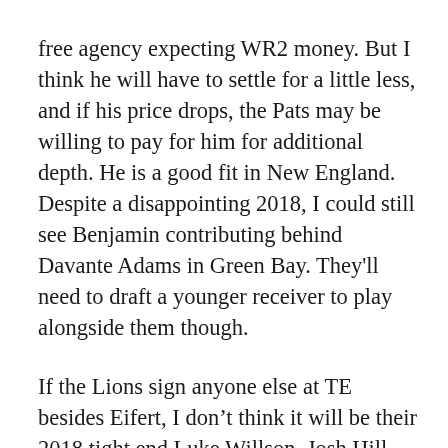free agency expecting WR2 money.  But I think he will have to settle for a little less, and if his price drops, the Pats may be willing to pay for him for additional depth.  He is a good fit in New England.  Despite a disappointing 2018, I could still see Benjamin contributing behind Davante Adams in Green Bay.  They'll need to draft a younger receiver to play alongside them though.
If the Lions sign anyone else at TE besides Eifert, I don't think it will be their 2018 tight end Luke Willson.  Josh Hill has a slightly better track record and could be a good bargain for the Lions.  I see Willson returning to Seattle to compete for playing time with Will Dissly, Ed Dickson, and others.  Kendricks was the most